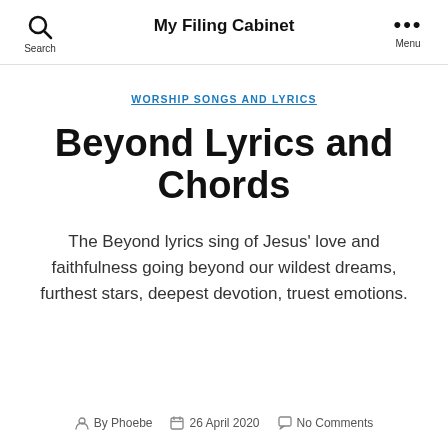My Filing Cabinet
WORSHIP SONGS AND LYRICS
Beyond Lyrics and Chords
The Beyond lyrics sing of Jesus' love and faithfulness going beyond our wildest dreams, furthest stars, deepest devotion, truest emotions.
By Phoebe  26 April 2020  No Comments